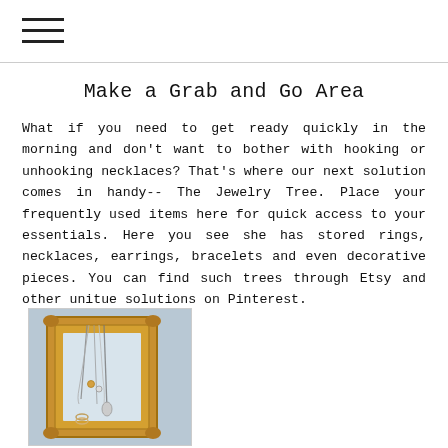[Figure (illustration): Hamburger menu icon with three horizontal lines]
Make a Grab and Go Area
What if you need to get ready quickly in the morning and don't want to bother with hooking or unhooking necklaces? That's where our next solution comes in handy-- The Jewelry Tree. Place your frequently used items here for quick access to your essentials. Here you see she has stored rings, necklaces, earrings, bracelets and even decorative pieces. You can find such trees through Etsy and other unitue solutions on Pinterest.
[Figure (photo): Photo of an ornate gold-framed mirror or frame with jewelry items such as necklaces and bracelets hanging from it, against a light blue background]